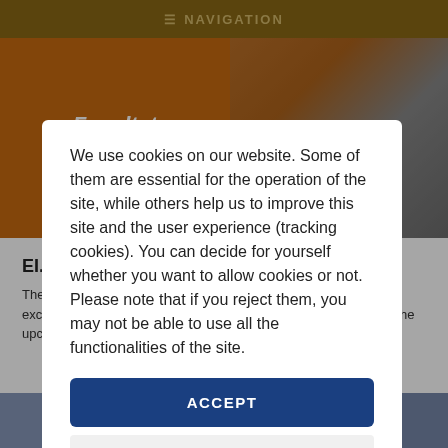NAVIGATION
[Figure (photo): Hero image showing Facultat d'Economia sign on orange background (left) and crowd of students (right)]
EI...
The... Entrepreneurship... too... represented the ZFU in Antwerp and were able to exchange information with the partners about the status quo and the upcoming steps.
[Figure (photo): Four thumbnail images at bottom of page]
We use cookies on our website. Some of them are essential for the operation of the site, while others help us to improve this site and the user experience (tracking cookies). You can decide for yourself whether you want to allow cookies or not. Please note that if you reject them, you may not be able to use all the functionalities of the site.
ACCEPT
DECLINE
Privacy Policy    Imprint